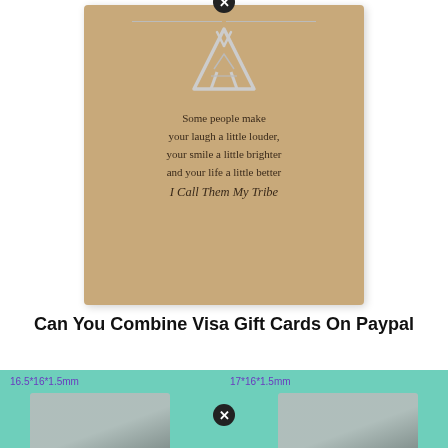[Figure (photo): A silver teepee pendant necklace on a kraft paper card that reads: 'Some people make your laugh a little louder, your smile a little brighter and your life a little better I Call Them My Tribe']
Can You Combine Visa Gift Cards On Paypal
[Figure (photo): Product comparison photo on teal background showing two jewelry items with size labels '16.5*16*1.5mm' and '17*16*1.5mm']